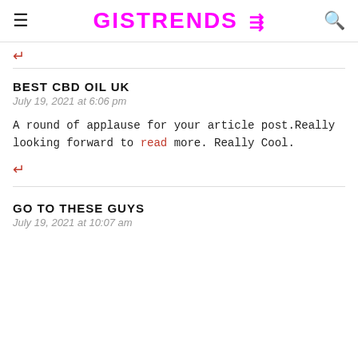GISTRENDS
↩
BEST CBD OIL UK
July 19, 2021 at 6:06 pm
A round of applause for your article post.Really looking forward to read more. Really Cool.
↩
GO TO THESE GUYS
July 19, 2021 at 10:07 am